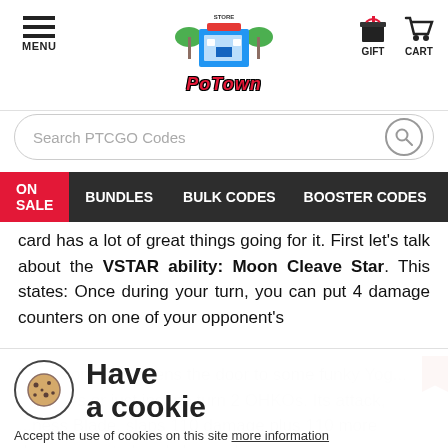MENU | PoTown Store | GIFT | CART
Search PTCGO Codes
ON SALE | BUNDLES | BULK CODES | BOOSTER CODES | XY - C
card has a lot of great things going for it. First let's talk about the VSTAR ability: Moon Cleave Star. This states: Once during your turn, you can put 4 damage counters on one of your opponent's
Pokemon. This opens the door to some funky Yog... plays or just insane turn 2 OHKOs. Its attack, ... Blade, slaps 110 damage plus 110 more dama... ment already has a damage counter on it. With Galarian Zigzagoon, Quick Shooting, Inteleon, or just its Moon Cleave Sta...
Have a cookie
Accept the use of cookies on this site more information
I Accept